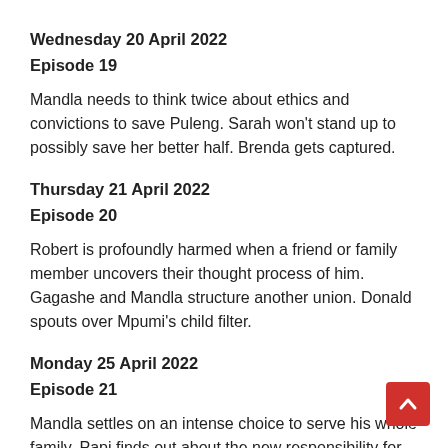Wednesday 20 April 2022
Episode 19
Mandla needs to think twice about ethics and convictions to save Puleng. Sarah won't stand up to possibly save her better half. Brenda gets captured.
Thursday 21 April 2022
Episode 20
Robert is profoundly harmed when a friend or family member uncovers their thought process of him. Gagashe and Mandla structure another union. Donald spouts over Mpumi's child filter.
Monday 25 April 2022
Episode 21
Mandla settles on an intense choice to serve his whole family. Papi finds out about the new responsibility for